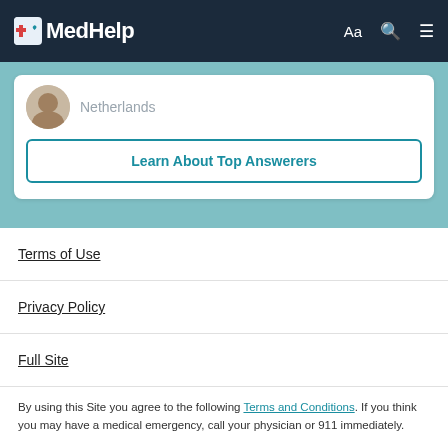MedHelp
Netherlands
Learn About Top Answerers
Terms of Use
Privacy Policy
Full Site
By using this Site you agree to the following Terms and Conditions. If you think you may have a medical emergency, call your physician or 911 immediately.
Copyright © Vitals Consumer Services LLC